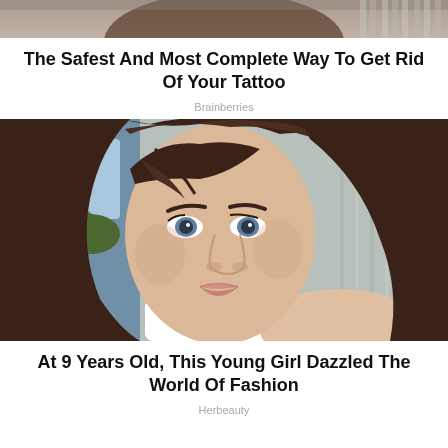[Figure (photo): Partial top photo strip, cropped image visible at very top of page]
The Safest And Most Complete Way To Get Rid Of Your Tattoo
Brainberries
[Figure (photo): Close-up portrait of a young woman with long dark brown hair and blue eyes, wearing a white top, taking a selfie outdoors]
At 9 Years Old, This Young Girl Dazzled The World Of Fashion
Herbeauty